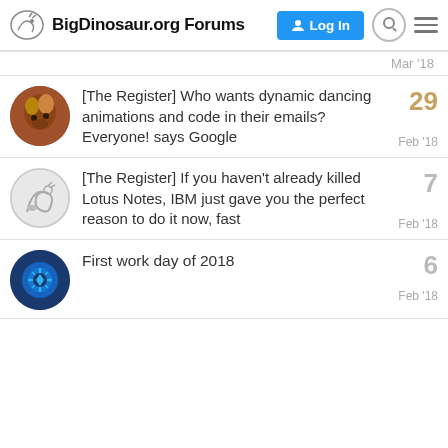BigDinosaur.org Forums
Mar '18
[The Register] Who wants dynamic dancing animations and code in their emails? Everyone! says Google — 29 replies — Feb '18
[The Register] If you haven't already killed Lotus Notes, IBM just gave you the perfect reason to do it now, fast — 7 replies — Feb '18
First work day of 2018 — 6 replies — Feb '18